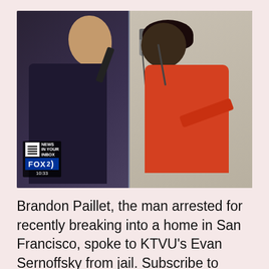[Figure (screenshot): Screenshot of a FOX 2 news segment showing a reporter on the left side of a jail visitation glass partition speaking on a phone, and a person in an orange top on the right side speaking on a phone. The FOX 2 logo with NEWS IN YOUR INBOX QR code overlay appears in the lower-left corner. Timestamp shows 10:33.]
Brandon Paillet, the man arrested for recently breaking into a home in San Francisco, spoke to KTVU's Evan Sernoffsky from jail. Subscribe to KTVU's YouTube channel: KTVU delivers the best in-depth reports, interviews and breaking news coverage in the San Francisco